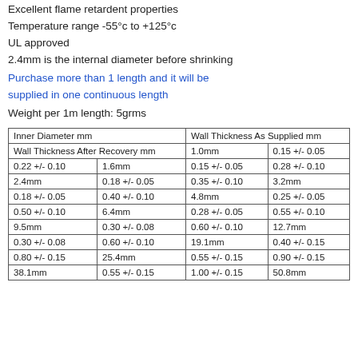Excellent flame retardent properties
Temperature range -55°c to +125°c
UL approved
2.4mm is the internal diameter before shrinking
Purchase more than 1 length and it will be supplied in one continuous length
Weight per 1m length: 5grms
| Inner Diameter mm | Wall Thickness As Supplied mm | Wall Thickness After Recovery mm | 1.0mm | 0.15 +/- 0.05 |
| --- | --- | --- | --- | --- |
| 0.22 +/- 0.10 | 1.6mm | 0.15 +/- 0.05 | 0.28 +/- 0.10 |
| 2.4mm | 0.18 +/- 0.05 | 0.35 +/- 0.10 | 3.2mm |
| 0.18 +/- 0.05 | 0.40 +/- 0.10 | 4.8mm | 0.25 +/- 0.05 |
| 0.50 +/- 0.10 | 6.4mm | 0.28 +/- 0.05 | 0.55 +/- 0.10 |
| 9.5mm | 0.30 +/- 0.08 | 0.60 +/- 0.10 | 12.7mm |
| 0.30 +/- 0.08 | 0.60 +/- 0.10 | 19.1mm | 0.40 +/- 0.15 |
| 0.80 +/- 0.15 | 25.4mm | 0.55 +/- 0.15 | 0.90 +/- 0.15 |
| 38.1mm | 0.55 +/- 0.15 | 1.00 +/- 0.15 | 50.8mm |